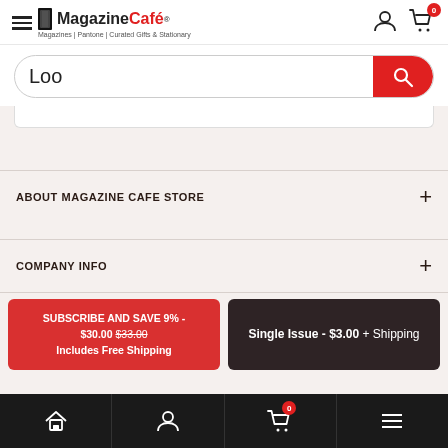[Figure (screenshot): Magazine Café website header with hamburger menu, logo, user icon, and cart icon with badge showing 0]
Loo
ABOUT MAGAZINE CAFE STORE
COMPANY INFO
SUBSCRIBE AND SAVE 9% - $30.00 $33.00 Includes Free Shipping
Single Issue - $3.00 + Shipping
[Figure (screenshot): Bottom navigation bar with home, account, cart (badge 0), and menu icons]